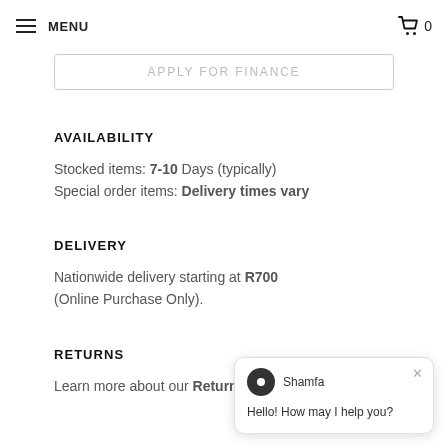MENU  0
APPLY FOR FINANCE
AVAILABILITY
Stocked items: 7-10 Days (typically) Special order items: Delivery times vary
DELIVERY
Nationwide delivery starting at R700 (Online Purchase Only).
RETURNS
Learn more about our Return Po
Shamfa
Hello! How may I help you?